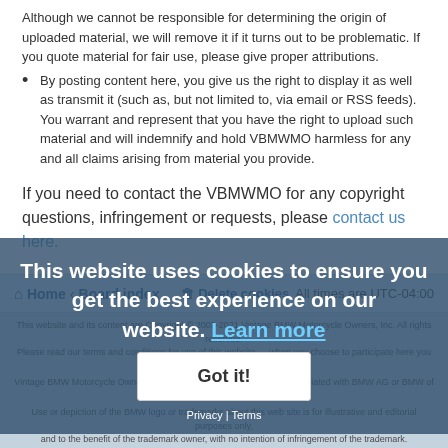Although we cannot be responsible for determining the origin of uploaded material, we will remove it if it turns out to be problematic. If you quote material for fair use, please give proper attributions.
By posting content here, you give us the right to display it as well as transmit it (such as, but not limited to, via email or RSS feeds). You warrant and represent that you have the right to upload such material and will indemnify and hold VBMWMO harmless for any and all claims arising from material you provide.
If you need to contact the VBMWMO for any copyright questions, infringement or requests, please contact us here.
Home · Board index · Delete cookies · All times are UTC-04:00
This website and its content are Copyright © 2003-2021 Vintage BMW Motorcycle Owners, Inc. All rights reserved. Please read our terms and conditions for use of this website — when you choose to participate here you are bound by them. Vintage BMW Motorcycle Owners is a non-profit association and is not affiliated with BMW AG or BMW of North America. Use or depiction of the BMW logo or trademarks about this web site is for illustrative and editorial purposes only, and to the benefit of the trademark owner, with no intention of infringement of the trademark.
This website uses cookies to ensure you get the best experience on our website. Learn more
Got it!
Privacy | Terms